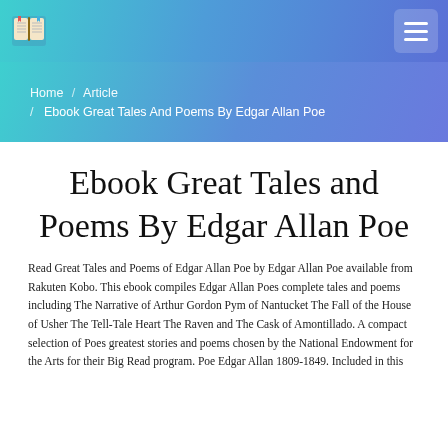Navigation bar with book logo and hamburger menu
Home / Article / Ebook Great Tales And Poems By Edgar Allan Poe
Ebook Great Tales and Poems By Edgar Allan Poe
Read Great Tales and Poems of Edgar Allan Poe by Edgar Allan Poe available from Rakuten Kobo. This ebook compiles Edgar Allan Poes complete tales and poems including The Narrative of Arthur Gordon Pym of Nantucket The Fall of the House of Usher The Tell-Tale Heart The Raven and The Cask of Amontillado. A compact selection of Poes greatest stories and poems chosen by the National Endowment for the Arts for their Big Read program. Poe Edgar Allan 1809-1849. Included in this